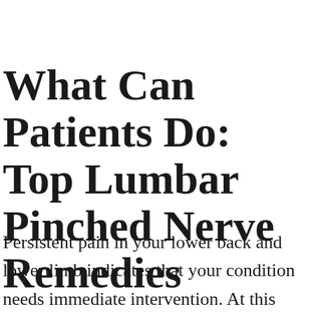What Can Patients Do: Top Lumbar Pinched Nerve Remedies
Persistent pain in your lower back and lower limb indicates that your condition needs immediate intervention. At this point, you should visit your doctor to